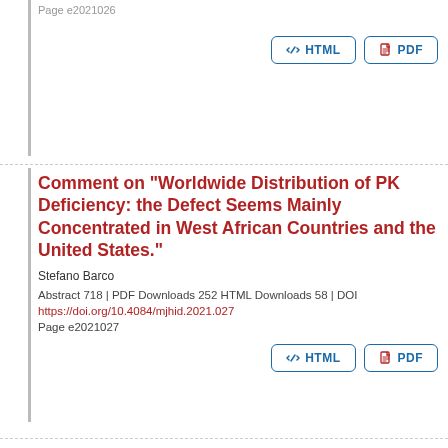Page e2021026
HTML   PDF
Comment on “Worldwide Distribution of PK Deficiency: the Defect Seems Mainly Concentrated in West African Countries and the United States.”
Stefano Barco
Abstract 718 | PDF Downloads 252 HTML Downloads 58 | DOI https://doi.org/10.4084/mjhid.2021.027
Page e2021027
HTML   PDF